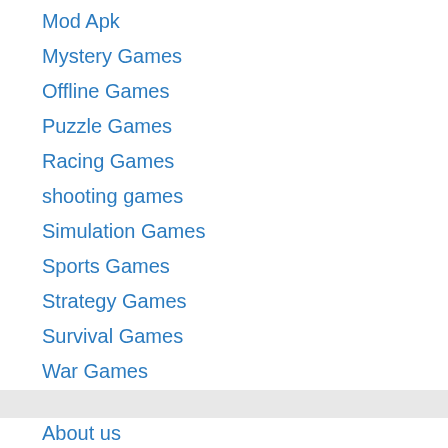Mod Apk
Mystery Games
Offline Games
Puzzle Games
Racing Games
shooting games
Simulation Games
Sports Games
Strategy Games
Survival Games
War Games
About us